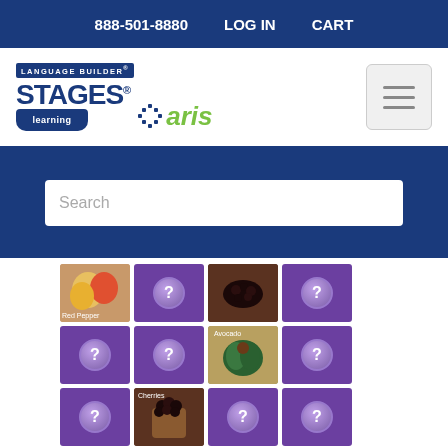888-501-8880   LOG IN   CART
[Figure (logo): Language Builder Stages Learning Aris logo with hamburger menu button]
[Figure (screenshot): Blue hero/search bar section with search input field]
[Figure (screenshot): Matching activity game grid with fruit photos and purple question mark tiles - Red Pepper, cherries, avocado]
Why Matching Activities for Children with Autism?
What has...